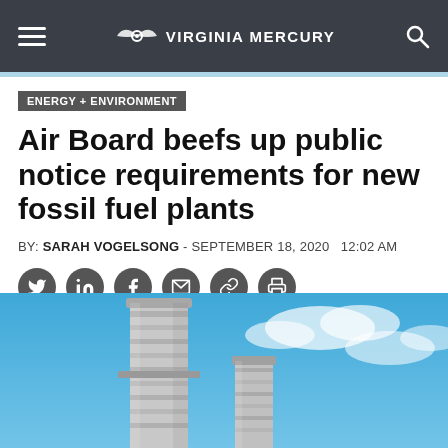VIRGINIA MERCURY
ENERGY + ENVIRONMENT
Air Board beefs up public notice requirements for new fossil fuel plants
BY: SARAH VOGELSONG - SEPTEMBER 18, 2020   12:02 AM
[Figure (photo): Industrial smokestacks / cooling towers against a blue sky with clouds]
[Figure (infographic): Social sharing icons: Twitter, LinkedIn, Facebook, Email, Link, Print]